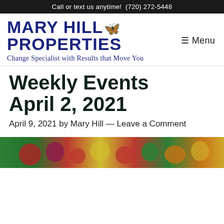Call or text us anytime!  (720) 272-5448
[Figure (logo): Mary Hill Properties logo with butterfly icon and tagline 'Change Specialist with Results that Move You']
Weekly Events April 2, 2021
April 9, 2021 by Mary Hill — Leave a Comment
[Figure (photo): Colorful vegetables and produce photo at the bottom of the page]